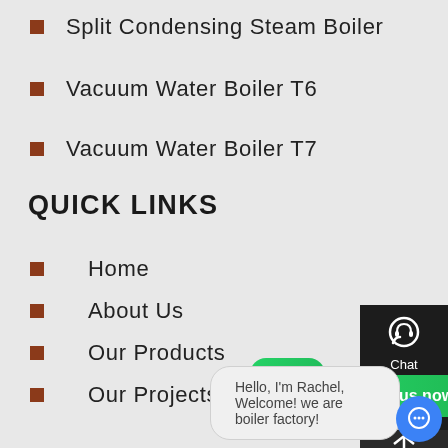Split Condensing Steam Boiler
Vacuum Water Boiler T6
Vacuum Water Boiler T7
QUICK LINKS
Home
About Us
Our Products
Our Projects
Contact Us
[Figure (screenshot): Right-side panel with Chat, Email, and scroll-to-top icons on dark background]
[Figure (screenshot): WhatsApp icon button with green 'Contact us now!' label]
Hello, I'm Rachel, Welcome! we are boiler factory!